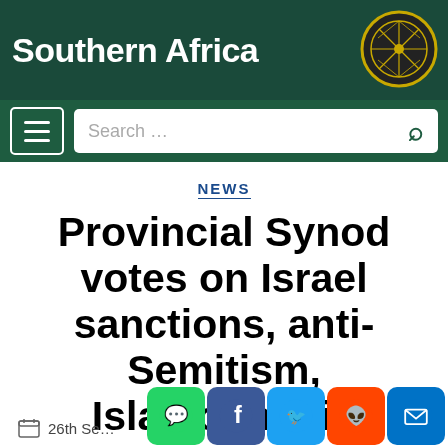Southern Africa
NEWS
Provincial Synod votes on Israel sanctions, anti-Semitism, Islamophobia
26th September